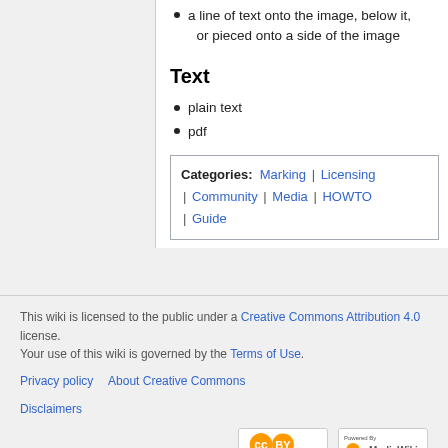a line of text onto the image, below it, or pieced onto a side of the image
Text
plain text
pdf
Categories: Marking | Licensing | Community | Media | HOWTO | Guide
This wiki is licensed to the public under a Creative Commons Attribution 4.0 license. Your use of this wiki is governed by the Terms of Use.
Privacy policy   About Creative Commons   Disclaimers